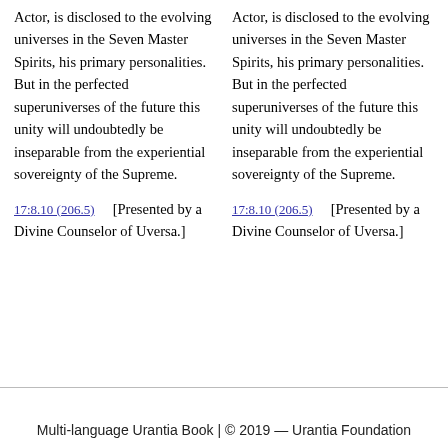Actor, is disclosed to the evolving universes in the Seven Master Spirits, his primary personalities. But in the perfected superuniverses of the future this unity will undoubtedly be inseparable from the experiential sovereignty of the Supreme.
Actor, is disclosed to the evolving universes in the Seven Master Spirits, his primary personalities. But in the perfected superuniverses of the future this unity will undoubtedly be inseparable from the experiential sovereignty of the Supreme.
17:8.10 (206.5)    [Presented by a Divine Counselor of Uversa.]
17:8.10 (206.5)    [Presented by a Divine Counselor of Uversa.]
Multi-language Urantia Book | © 2019 — Urantia Foundation